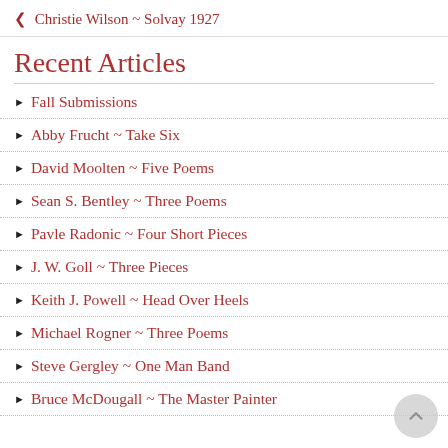❮ Christie Wilson ~ Solvay 1927
Recent Articles
Fall Submissions
Abby Frucht ~ Take Six
David Moolten ~ Five Poems
Sean S. Bentley ~ Three Poems
Pavle Radonic ~ Four Short Pieces
J. W. Goll ~ Three Pieces
Keith J. Powell ~ Head Over Heels
Michael Rogner ~ Three Poems
Steve Gergley ~ One Man Band
Bruce McDougall ~ The Master Painter